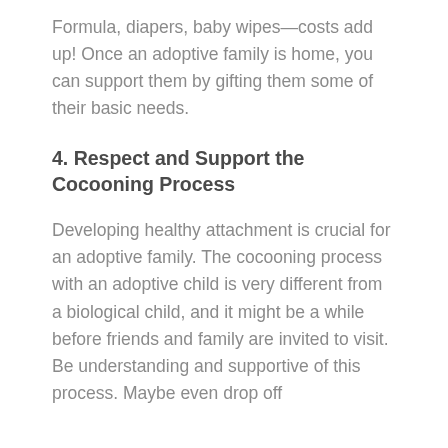Formula, diapers, baby wipes—costs add up! Once an adoptive family is home, you can support them by gifting them some of their basic needs.
4. Respect and Support the Cocooning Process
Developing healthy attachment is crucial for an adoptive family. The cocooning process with an adoptive child is very different from a biological child, and it might be a while before friends and family are invited to visit. Be understanding and supportive of this process. Maybe even drop off